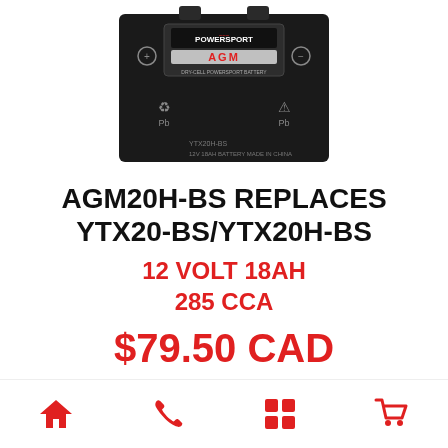[Figure (photo): Black AGM Powersport AGM battery labeled YTX20H-BS, 12V 18AH, made in China, with Pb recycling symbols on front]
AGM20H-BS REPLACES YTX20-BS/YTX20H-BS
12 VOLT 18AH
285 CCA
$79.50 CAD
Home | Phone | Grid | Cart navigation icons